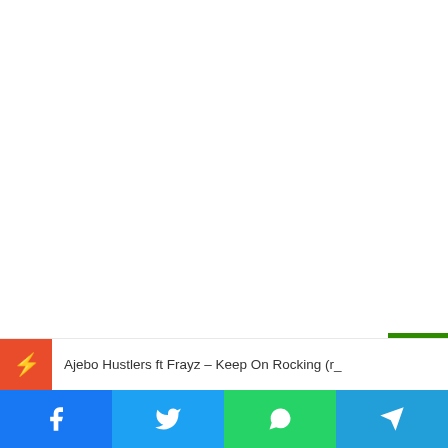[Figure (screenshot): Large white blank area representing an embedded media/advertisement area on a webpage]
Ajebo Hustlers ft Frayz – Keep On Rocking (r_
Share buttons: Facebook, Twitter, WhatsApp, Telegram